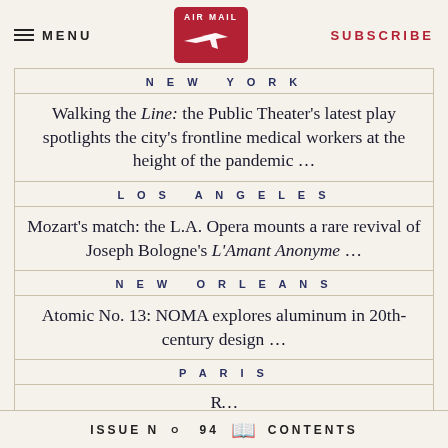MENU | AIR MAIL | SUBSCRIBE
NEW YORK
Walking the Line: the Public Theater's latest play spotlights the city's frontline medical workers at the height of the pandemic ...
LOS ANGELES
Mozart's match: the L.A. Opera mounts a rare revival of Joseph Bologne's L'Amant Anonyme ...
NEW ORLEANS
Atomic No. 13: NOMA explores aluminum in 20th-century design ...
PARIS
R...
ISSUE № 94  CONTENTS